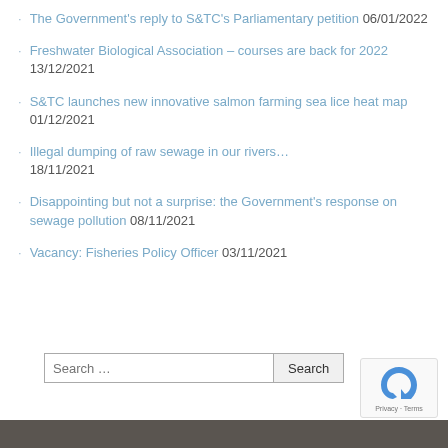The Government's reply to S&TC's Parliamentary petition 06/01/2022
Freshwater Biological Association – courses are back for 2022 13/12/2021
S&TC launches new innovative salmon farming sea lice heat map 01/12/2021
Illegal dumping of raw sewage in our rivers… 18/11/2021
Disappointing but not a surprise: the Government's response on sewage pollution 08/11/2021
Vacancy: Fisheries Policy Officer 03/11/2021